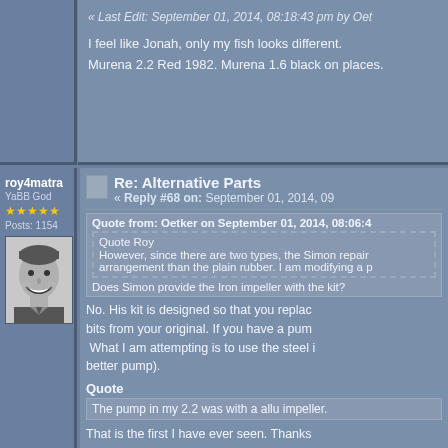« Last Edit: September 01, 2014, 08:18:43 pm by Oet...
I feel like Jonah, only my fish looks different.
Murena 2.2 Red 1982. Murena 1.6 black on places.
roy4matra
YaBB God
Posts: 1154
[Figure (photo): Black and white headshot photo of a smiling man]
Re: Alternative Parts
« Reply #68 on: September 01, 2014, 09...
Quote from: Oetker on September 01, 2014, 08:06:4...
Quote Roy
However, since there are two types, the Simon repair...
arrangement than the plain rubber. I am modifying a p...
Does Simon provide the Iron impeller with the kit?
No. His kit is designed so that you replace... bits from your original. If you have a pump... What I am attempting is to use the steel i... better pump).
Quote
The pump in my 2.2 was with a allu impeller.
That is the first I have ever seen. Thanks... interesting to compare that to the pumps w...
Quote
The pump on the pic is a Quinton Hazel QCP1011 am...
15 mm in fact.